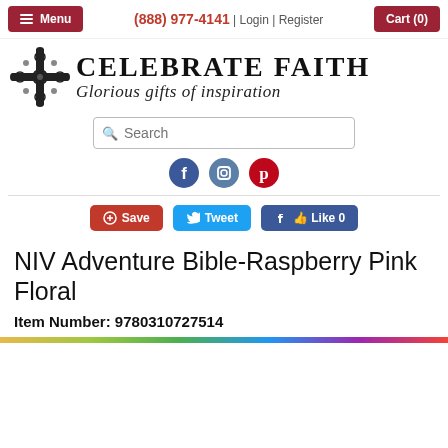Menu | (888) 977-4141 | Login | Register | Cart (0)
[Figure (logo): Celebrate Faith logo with ornate cross and tagline 'Glorious gifts of inspiration']
Search
[Figure (other): Social media icons: Facebook, Instagram, Pinterest]
[Figure (other): Share buttons: Save (Pinterest), Tweet (Twitter), Like 0 (Facebook)]
NIV Adventure Bible-Raspberry Pink Floral
Item Number: 9780310727514